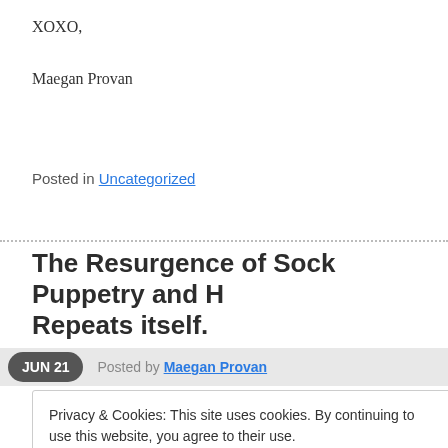XOXO,
Maegan Provan
Posted in Uncategorized
The Resurgence of Sock Puppetry and H Repeats itself.
JUN 21  Posted by Maegan Provan
Privacy & Cookies: This site uses cookies. By continuing to use this website, you agree to their use. To find out more, including how to control cookies, see here: Cookie Policy
Close and accept